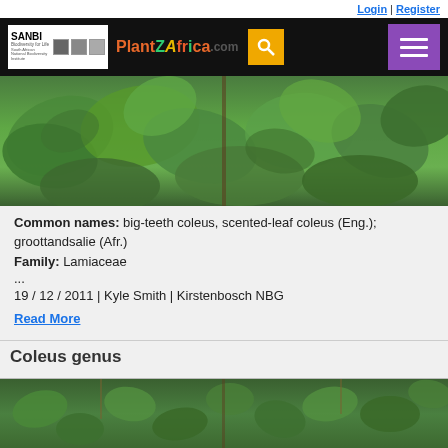Login | Register
[Figure (photo): Navigation bar with SANBI logo, PlantZAfrica.com logo, search button, and menu button on black background]
[Figure (photo): Close-up photograph of large green leaves of Coleus plant at Kirstenbosch NBG]
Common names: big-teeth coleus, scented-leaf coleus (Eng.); groottandsalie (Afr.)
Family: Lamiaceae
...
19 / 12 / 2011 | Kyle Smith | Kirstenbosch NBG
Read More
Coleus genus
[Figure (photo): Photograph of Coleus genus plant with small green leaves and flowering spike]